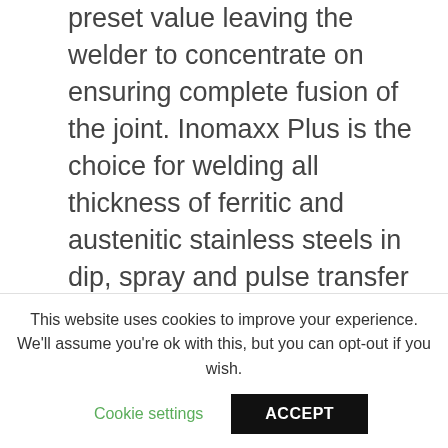preset value leaving the welder to concentrate on ensuring complete fusion of the joint. Inomaxx Plus is the choice for welding all thickness of ferritic and austenitic stainless steels in dip, spray and pulse transfer and with metal cored wires. Arquivos Semelhantes Manufacturing Steel Construction.
BIOGRAPHY OF SALAHUDDIN AYUBI PDF
Engineering welding Handbook99 Pdf Tig – Handbook from handble...
This website uses cookies to improve your experience. We'll assume you're ok with this, but you can opt-out if you wish.
Cookie settings   ACCEPT